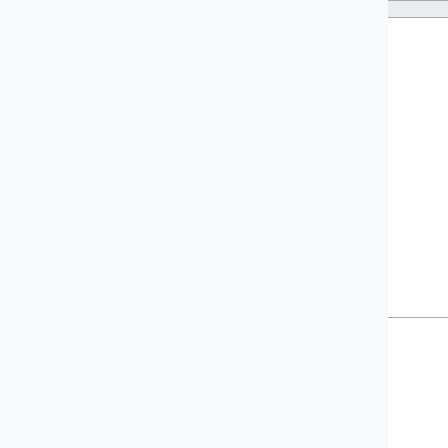| Time | Type | Names |
| --- | --- | --- |
| 00:00–01:00 UTC #
(Tue)
16:00–17:00 PST | Evening SWAT
(Max 8 patches) | addshore, Ant (hashar), Brad (anomie), Katie (aude), Max (MaxSem), Muk (twentyafter), Roan (RoanKattouw), Sébastien (Dereckson), T (thcipriani), Niharika (Niha), or Željko (zelj) |
| 14:00–15:00 UTC | European Mid-day | addshore, Ant (hashar), Brad (anomie), Katie (aude), Max (MaxSem), Muk (twentyafter) |